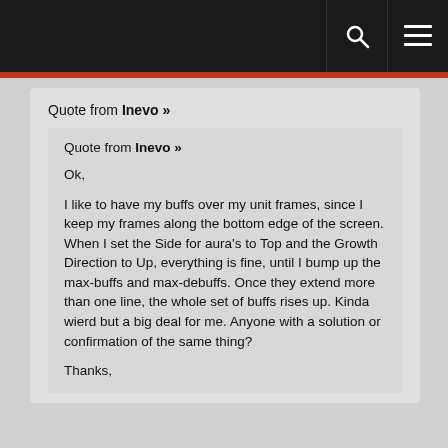Quote from Inevo »
Quote from Inevo »

Ok,

I like to have my buffs over my unit frames, since I keep my frames along the bottom edge of the screen. When I set the Side for aura's to Top and the Growth Direction to Up, everything is fine, until I bump up the max-buffs and max-debuffs. Once they extend more than one line, the whole set of buffs rises up. Kinda wierd but a big deal for me. Anyone with a solution or confirmation of the same thing?

Thanks,